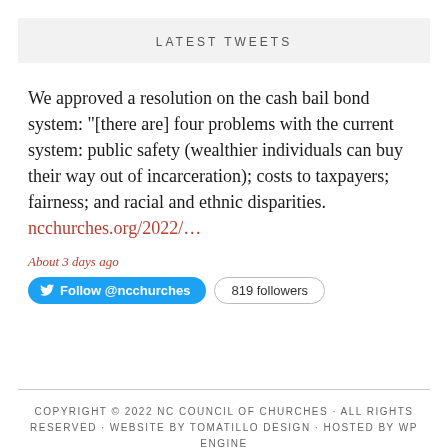LATEST TWEETS
We approved a resolution on the cash bail bond system: "[there are] four problems with the current system: public safety (wealthier individuals can buy their way out of incarceration); costs to taxpayers; fairness; and racial and ethnic disparities. ncchurches.org/2022/...
About 3 days ago
Follow @ncchurches   819 followers
COPYRIGHT © 2022 NC COUNCIL OF CHURCHES · ALL RIGHTS RESERVED · WEBSITE BY TOMATILLO DESIGN · HOSTED BY WP ENGINE